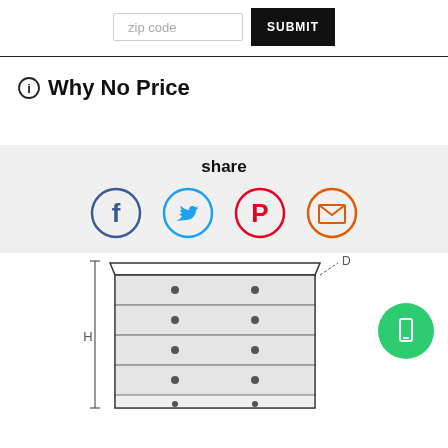[Figure (screenshot): Zip code input field with SUBMIT button]
Why No Price
share
[Figure (infographic): Social share icons: Facebook, Twitter, Pinterest, Email]
[Figure (engineering-diagram): Line drawing of a tall chest of drawers with dimension markers H (height) and D (depth)]